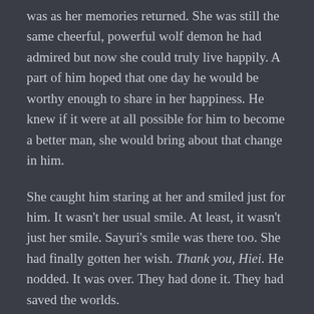was as her memories returned. She was still the same cheerful, powerful wolf demon he had admired but now she could truly live happily. A part of him hoped that one day he would be worthy enough to share in her happiness. He knew if it were at all possible for him to become a better man, she would bring about that change in him.
She caught him staring at her and smiled just for him. It wasn't her usual smile. At least, it wasn't just her smile. Sayuri's smile was there too. She had finally gotten her wish. Thank you, Hiei. He nodded. It was over. They had done it. They had saved the worlds.
* * *
Ali stood on the edge of the overlook a week after her